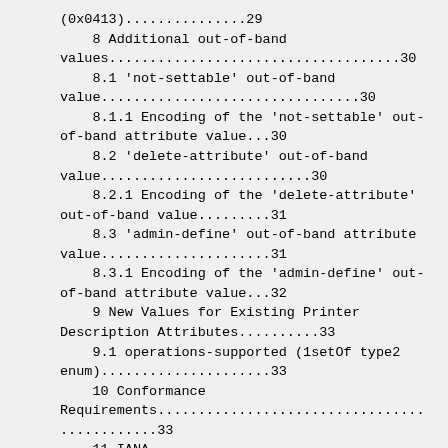(0x0413)...............29
8 Additional out-of-band values....................................30
8.1 'not-settable' out-of-band value................................30
8.1.1 Encoding of the 'not-settable' out-of-band attribute value...30
8.2 'delete-attribute' out-of-band value..........................30
8.2.1 Encoding of the 'delete-attribute' out-of-band value.........31
8.3 'admin-define' out-of-band attribute value.....................31
8.3.1 Encoding of the 'admin-define' out-of-band attribute value...32
9 New Values for Existing Printer Description Attributes..........33
9.1 operations-supported (1setOf type2 enum).....................33
10 Conformance Requirements.......................................33
11 IANA